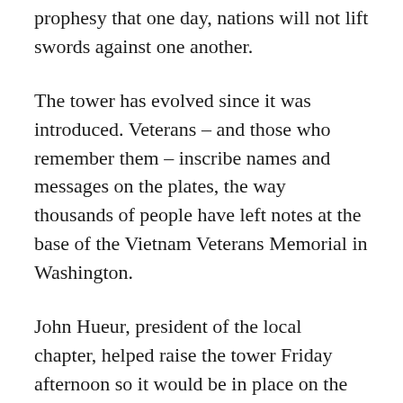prophesy that one day, nations will not lift swords against one another.
The tower has evolved since it was introduced. Veterans – and those who remember them – inscribe names and messages on the plates, the way thousands of people have left notes at the base of the Vietnam Veterans Memorial in Washington.
John Hueur, president of the local chapter, helped raise the tower Friday afternoon so it would be in place on the south side of the State Capitol building in time for today's Veterans Day Parade, which will pass close by.
Members of Veterans For Peace will participate